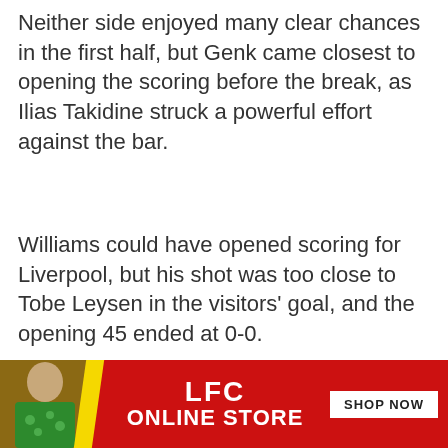Neither side enjoyed many clear chances in the first half, but Genk came closest to opening the scoring before the break, as Ilias Takidine struck a powerful effort against the bar.
Williams could have opened scoring for Liverpool, but his shot was too close to Tobe Leysen in the visitors' goal, and the opening 45 ended at 0-0.
KIRKBY, ENGLAND - Tuesday, November 5, 2019: Liverpool's Yasser Larouci during the UEFA Youth League Group E match between Liverpool FC Under
[Figure (infographic): LFC Online Store advertisement banner with person in green shirt, yellow diagonal stripe, LFC ONLINE STORE text, and SHOP NOW button]